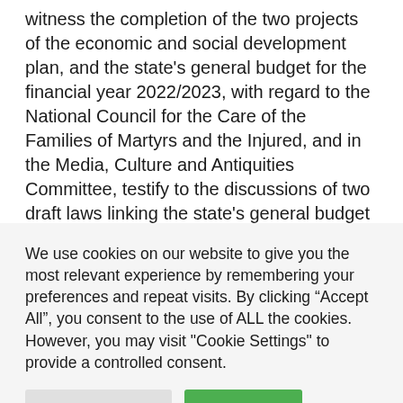witness the completion of the two projects of the economic and social development plan, and the state's general budget for the financial year 2022/2023, with regard to the National Council for the Care of the Families of Martyrs and the Injured, and in the Media, Culture and Antiquities Committee, testify to the discussions of two draft laws linking the state's general budget and the economic
We use cookies on our website to give you the most relevant experience by remembering your preferences and repeat visits. By clicking "Accept All", you consent to the use of ALL the cookies. However, you may visit "Cookie Settings" to provide a controlled consent.